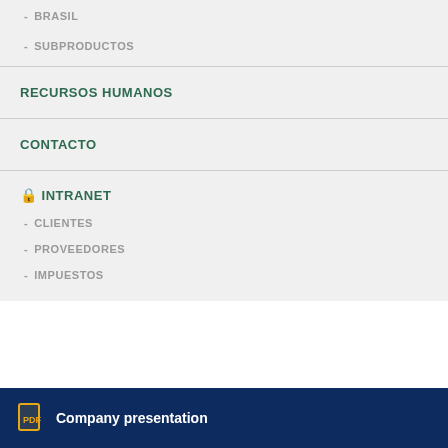- BRASIL
- SUBPRODUCTOS
RECURSOS HUMANOS
CONTACTO
🔒 INTRANET
- CLIENTES
- PROVEEDORES
- IMPUESTOS
Company presentation